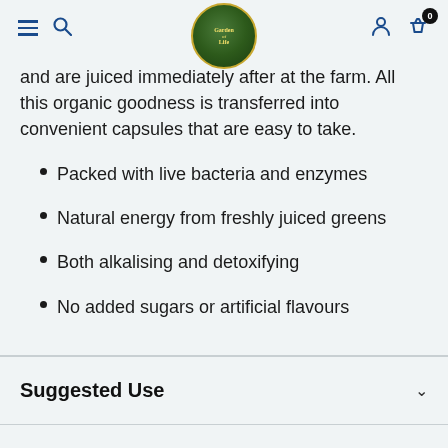Garden of Life navigation bar with hamburger menu, search icon, logo, person icon, and basket (0 items)
and are juiced immediately after at the farm. All this organic goodness is transferred into convenient capsules that are easy to take.
Packed with live bacteria and enzymes
Natural energy from freshly juiced greens
Both alkalising and detoxifying
No added sugars or artificial flavours
Suggested Use
Ingredients
Nutritional Information